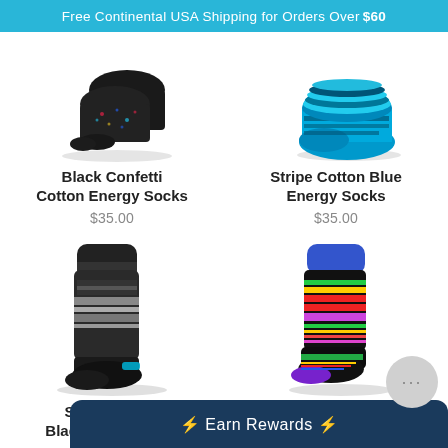Free Continental USA Shipping for Orders Over $60
Black Confetti Cotton Energy Socks
$35.00
Stripe Cotton Blue Energy Socks
$35.00
Stripe Cotton Black/Grey Energy Socks
$35.00
Stripe Cotton Black Multi Energy S…
⚡ Earn Rewards ⚡